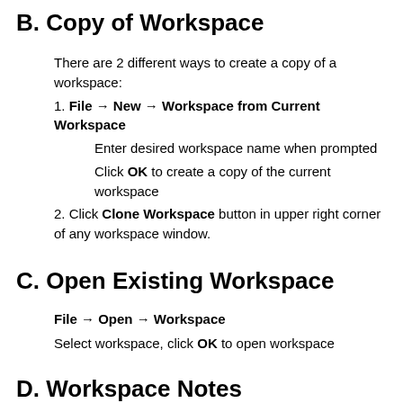B. Copy of Workspace
There are 2 different ways to create a copy of a workspace:
1. File → New → Workspace from Current Workspace
Enter desired workspace name when prompted
Click OK to create a copy of the current workspace
2. Click Clone Workspace button in upper right corner of any workspace window.
C. Open Existing Workspace
File → Open → Workspace
Select workspace, click OK to open workspace
D. Workspace Notes
Notes were designed to keep track of your